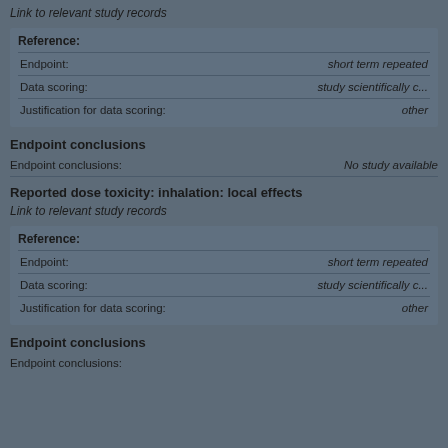Link to relevant study records
| Reference |  |
| --- | --- |
| Endpoint: | short term repeated |
| Data scoring: | study scientifically c... |
| Justification for data scoring: | other |
Endpoint conclusions
Endpoint conclusions:
No study available
Reported dose toxicity: inhalation: local effects
Link to relevant study records
| Reference |  |
| --- | --- |
| Endpoint: | short term repeated |
| Data scoring: | study scientifically c... |
| Justification for data scoring: | other |
Endpoint conclusions
Endpoint conclusions: